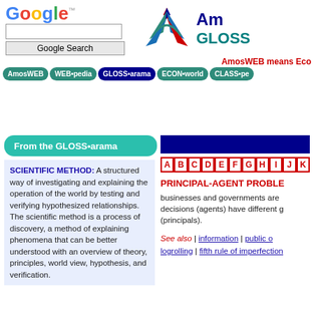[Figure (logo): Google logo with search box and search button]
[Figure (logo): AmosWEB GLOSS-arama logo with star/arrow icon]
AmosWEB means Eco
[Figure (other): Navigation bar with buttons: AmosWEB, WEB•pedia, GLOSS•arama (active), ECON•world, CLASS•pe]
From the GLOSS•arama
SCIENTIFIC METHOD: A structured way of investigating and explaining the operation of the world by testing and verifying hypothesized relationships. The scientific method is a process of discovery, a method of explaining phenomena that can be better understood with an overview of theory, principles, world view, hypothesis, and verification.
[Figure (other): Blue header bar on right side]
[Figure (other): Alphabet index: A B C D E F G H I J K]
PRINCIPAL-AGENT PROBLEM: businesses and governments are decisions (agents) have different g (principals).
See also | information | public o logrolling | fifth rule of imperfection